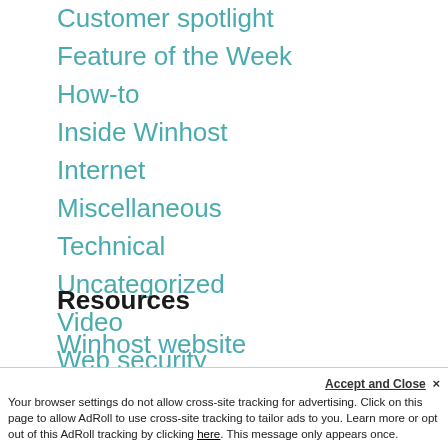Customer spotlight
Feature of the Week
How-to
Inside Winhost
Internet
Miscellaneous
Technical
Uncategorized
Video
Web security
Resources
Winhost website
Community forum
Knowledge Base
(partially visible item)
Accept and Close ×
Your browser settings do not allow cross-site tracking for advertising. Click on this page to allow AdRoll to use cross-site tracking to tailor ads to you. Learn more or opt out of this AdRoll tracking by clicking here. This message only appears once.